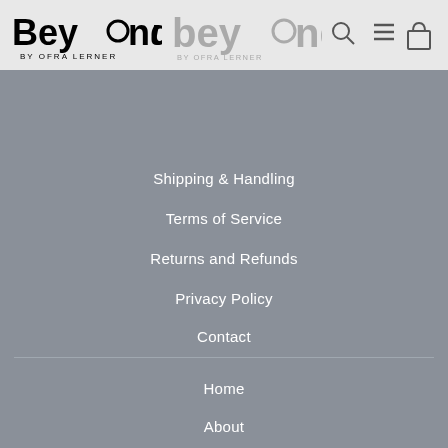[Figure (logo): BeyondU by Ofra Lerner logo in black, with circular U symbol]
[Figure (logo): BeyondU by Ofra Lerner logo in gray, larger version]
[Figure (other): Navigation icons: search magnifier, hamburger menu, shopping bag]
Shipping & Handling
Terms of Service
Returns and Refunds
Privacy Policy
Contact
Home
About
BeyondU Women's
BeyondU Men's